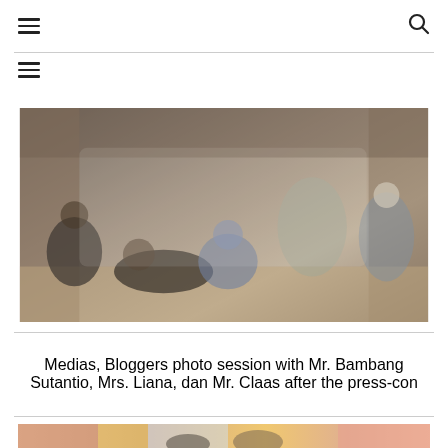Menu and Search icons
[Figure (photo): Group photo of media representatives and bloggers with Mr. Bambang Sutantio, Mrs. Liana, and Mr. Claas sitting and posing indoors after a press conference]
Medias, Bloggers photo session with Mr. Bambang Sutantio, Mrs. Liana,  dan Mr. Claas after the press-con
[Figure (photo): Partial photo showing people in front of a colorful painted European-style backdrop, one person wearing a hat]